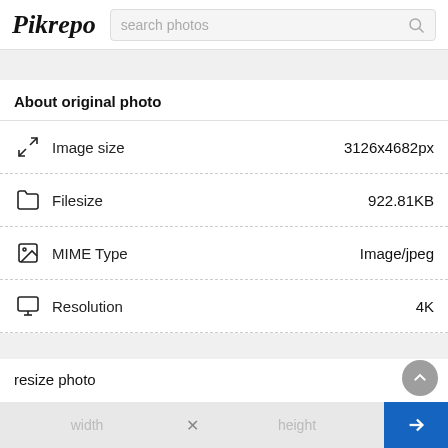Pikrepo — search photos
About original photo
| Field | Value |
| --- | --- |
| Image size | 3126x4682px |
| Filesize | 922.81KB |
| MIME Type | Image/jpeg |
| Resolution | 4K |
resize photo
width × height →